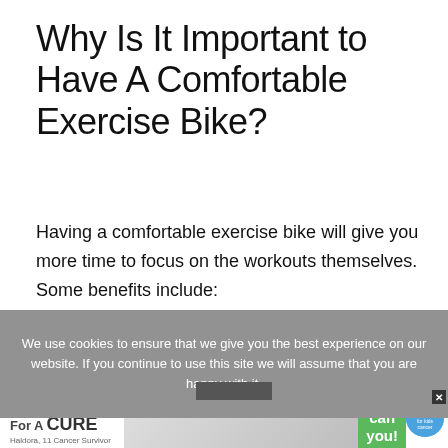Why Is It Important to Have A Comfortable Exercise Bike?
Having a comfortable exercise bike will give you more time to focus on the workouts themselves. Some benefits include:
We use cookies to ensure that we give you the best experience on our website. If you continue to use this site we will assume that you are happy with it.
[Figure (other): Advertisement banner for 'I Bake Cookies For A Cure' campaign featuring Haldora, 11, Cancer Survivor, with 'So can you!' and cookies for kids cancer logo]